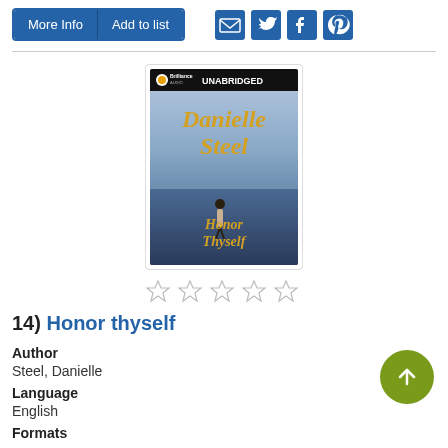[Figure (screenshot): Two action buttons: 'More Info' and 'Add to list' in blue, followed by social sharing icons for email, Twitter, Facebook, and Pinterest]
[Figure (photo): Book cover for 'Honor Thyself' by Danielle Steel, Brilliance Audio Unabridged edition, showing a figure walking on a bridge or waterway in a winter scene]
[Figure (other): Five empty star rating icons]
14)  Honor thyself
Author
Steel, Danielle
Language
English
Formats